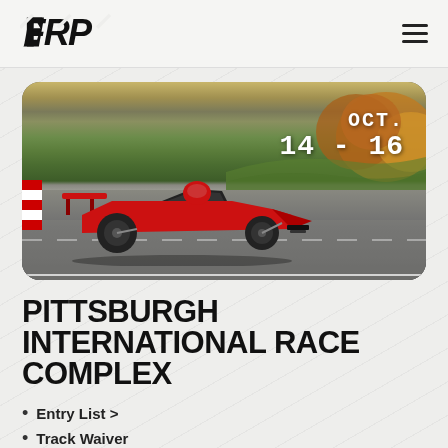[Figure (logo): FRP logo in bold stylized black lettering]
[Figure (photo): Formula racing car on a race track with green grass and autumn trees in background, date overlay OCT. 14-16 in white text]
PITTSBURGH INTERNATIONAL RACE COMPLEX
Entry List >
Track Waiver